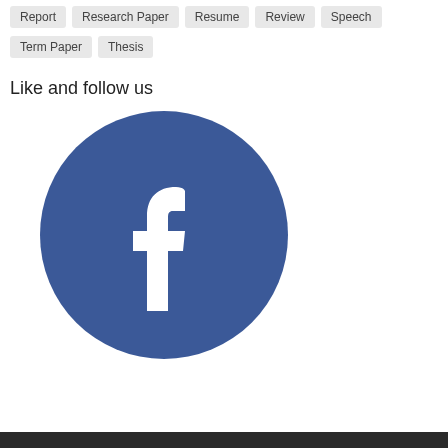Report
Research Paper
Resume
Review
Speech
Term Paper
Thesis
Like and follow us
[Figure (logo): Facebook logo — white letter f on a round blue background]